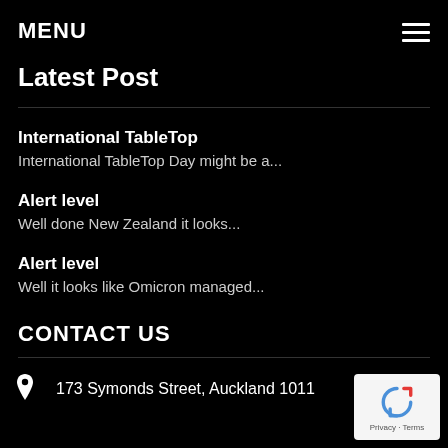MENU
Latest Post
International TableTop
International TableTop Day might be a...
Alert level
Well done New Zealand it looks...
Alert level
Well it looks like Omicron managed...
CONTACT US
173 Symonds Street, Auckland 1011
[Figure (logo): Google reCAPTCHA badge with Privacy and Terms text]